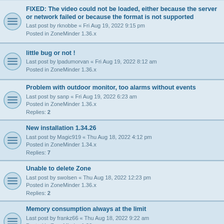FIXED: The video could not be loaded, either because the server or network failed or because the format is not supported
Last post by rknobbe « Fri Aug 19, 2022 9:15 pm
Posted in ZoneMinder 1.36.x
little bug or not !
Last post by lpadumorvan « Fri Aug 19, 2022 8:12 am
Posted in ZoneMinder 1.36.x
Problem with outdoor monitor, too alarms without events
Last post by sanp « Fri Aug 19, 2022 6:23 am
Posted in ZoneMinder 1.36.x
Replies: 2
New installation 1.34.26
Last post by Magic919 « Thu Aug 18, 2022 4:12 pm
Posted in ZoneMinder 1.34.x
Replies: 7
Unable to delete Zone
Last post by swolsen « Thu Aug 18, 2022 12:23 pm
Posted in ZoneMinder 1.36.x
Replies: 2
Memory consumption always at the limit
Last post by frankz66 « Thu Aug 18, 2022 9:22 am
Posted in ZoneMinder 1.36.x
Replies: 4
Cloud Storage Providers : POLL
Last post by zSprawl « Thu Aug 18, 2022 2:41 am
Posted in ZoneMinder 1.36.x
Replies: 4
Log question